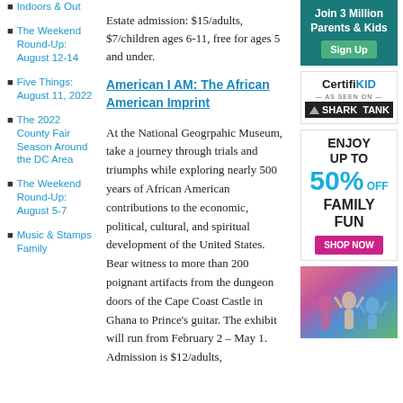Indoors & Out
The Weekend Round-Up: August 12-14
Five Things: August 11, 2022
The 2022 County Fair Season Around the DC Area
The Weekend Round-Up: August 5-7
Music & Stamps Family
Estate admission: $15/adults, $7/children ages 6-11, free for ages 5 and under.
American I AM: The African American Imprint
At the National Geogrpahic Museum, take a journey through trials and triumphs while exploring nearly 500 years of African American contributions to the economic, political, cultural, and spiritual development of the United States. Bear witness to more than 200 poignant artifacts from the dungeon doors of the Cape Coast Castle in Ghana to Prince's guitar. The exhibit will run from February 2 – May 1. Admission is $12/adults,
[Figure (infographic): Teal advertisement box: Join 3 Million Parents & Kids with green Sign Up button]
[Figure (logo): CertifiKID logo with AS SEEN ON SHARK TANK branding]
[Figure (infographic): ENJOY UP TO 50% OFF FAMILY FUN advertisement with SHOP NOW magenta button]
[Figure (photo): Group of people with raised hands, colorful clothing]